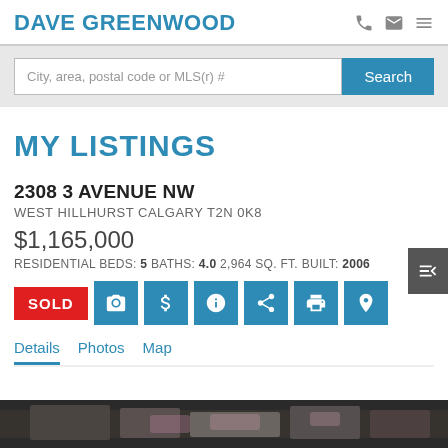DAVE GREENWOOD
City, area, postal code or MLS(r) #
MY LISTINGS
2308 3 AVENUE NW
WEST HILLHURST CALGARY T2N 0K8
$1,165,000
RESIDENTIAL BEDS: 5 BATHS: 4.0 2,964 SQ. FT. BUILT: 2006
SOLD
Details  Photos  Map
[Figure (photo): Bottom strip showing partial photo of a property]